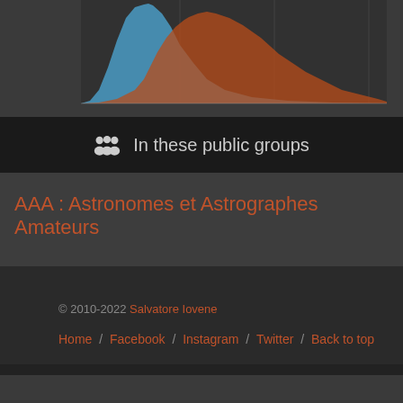[Figure (continuous-plot): Partial view of a histogram or distribution chart with blue and red/orange overlapping curves on a dark background, appears to be an astrophotography statistics chart.]
In these public groups
AAA : Astronomes et Astrographes Amateurs
© 2010-2022 Salvatore Iovene
Home / Facebook / Instagram / Twitter / Back to top